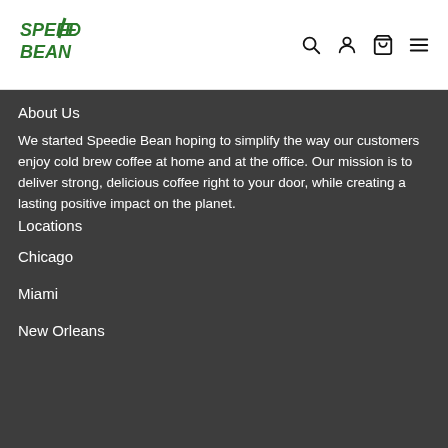[Figure (logo): Speedie Bean logo — green stylized text with lightning bolt]
Speedie Bean navigation header with search, account, cart, and menu icons
About Us
We started Speedie Bean hoping to simplify the way our customers enjoy cold brew coffee at home and at the office. Our mission is to deliver strong, delicious coffee right to your door, while creating a lasting positive impact on the planet.
Locations
Chicago
Miami
New Orleans